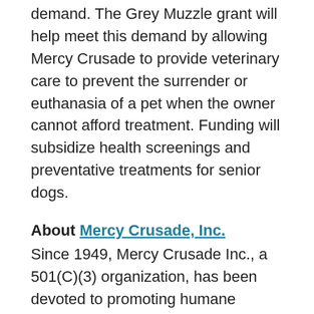demand. The Grey Muzzle grant will help meet this demand by allowing Mercy Crusade to provide veterinary care to prevent the surrender or euthanasia of a pet when the owner cannot afford treatment. Funding will subsidize health screenings and preventative treatments for senior dogs.
About Mercy Crusade, Inc.
Since 1949, Mercy Crusade Inc., a 501(C)(3) organization, has been devoted to promoting humane treatment and spay/neuter of our domesticated pets. With a significant demand in Ventura County for affordable spay/neuter services, The Spay Neuter Clinic was opened in Oxnard, CA in 2001. In 2011, services were expanded to include the Wellness Clinic. Mercy Crusade is currently the only nonprofit, affordable